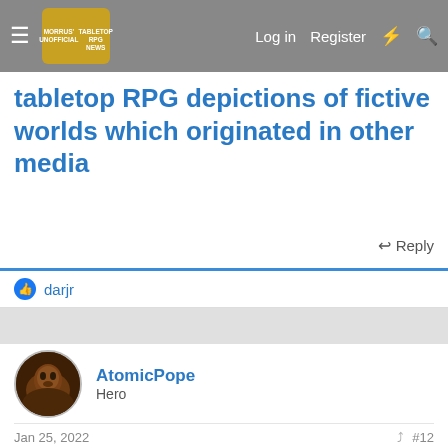Morrus' Unofficial Tabletop RPG News | Log in | Register
tabletop RPG depictions of fictive worlds which originated in other media
Reply
darjr
AtomicPope
Hero
Jan 25, 2022  #12
I never played Runescape. I loved playing Ultima Online but there's only so much time in the day. So back in the 00's I was playing 2e D&D, Ultima Online, Total Annihilation (later TA Kingdoms), and then got heavy into 3e by the time Runescape would have been relevant to me. The